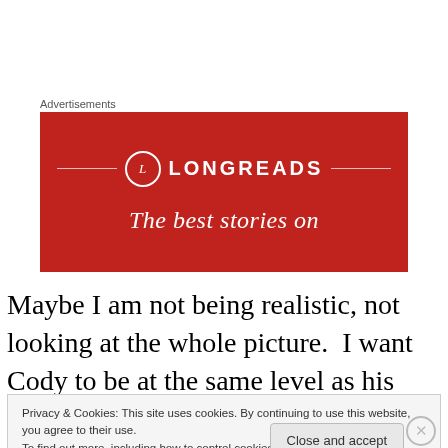Advertisements
[Figure (other): Longreads advertisement banner with red background, circular logo with letter L, and tagline 'The best stories on']
Maybe I am not being realistic, not looking at the whole picture.  I want Cody to be at the same level as his peers but realistically he may not be able to keep up.  I have  no
Privacy & Cookies: This site uses cookies. By continuing to use this website, you agree to their use.
To find out more, including how to control cookies, see here: Cookie Policy